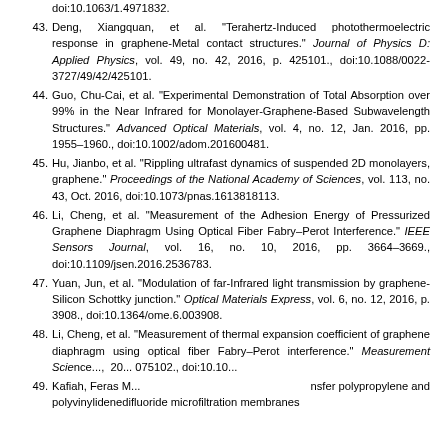doi:10.1063/1.4971832.
43. Deng, Xiangquan, et al. "Terahertz-Induced photothermoelectric response in graphene-Metal contact structures." Journal of Physics D: Applied Physics, vol. 49, no. 42, 2016, p. 425101., doi:10.1088/0022-3727/49/42/425101.
44. Guo, Chu-Cai, et al. "Experimental Demonstration of Total Absorption over 99% in the Near Infrared for Monolayer-Graphene-Based Subwavelength Structures." Advanced Optical Materials, vol. 4, no. 12, Jan. 2016, pp. 1955–1960., doi:10.1002/adom.201600481.
45. Hu, Jianbo, et al. "Rippling ultrafast dynamics of suspended 2D monolayers, graphene." Proceedings of the National Academy of Sciences, vol. 113, no. 43, Oct. 2016, doi:10.1073/pnas.1613818113.
46. Li, Cheng, et al. "Measurement of the Adhesion Energy of Pressurized Graphene Diaphragm Using Optical Fiber Fabry–Perot Interference." IEEE Sensors Journal, vol. 16, no. 10, 2016, pp. 3664–3669., doi:10.1109/jsen.2016.2536783.
47. Yuan, Jun, et al. "Modulation of far-Infrared light transmission by graphene-Silicon Schottky junction." Optical Materials Express, vol. 6, no. 12, 2016, p. 3908., doi:10.1364/ome.6.003908.
48. Li, Cheng, et al. "Measurement of thermal expansion coefficient of graphene diaphragm using optical fiber Fabry–Perot interference." Measurement Science..., 2016, p. 075102., doi:10.10...
49. Kafiah, Feras M... transfer polypropylene and polyvinylidenedifluoride microfiltration membranes